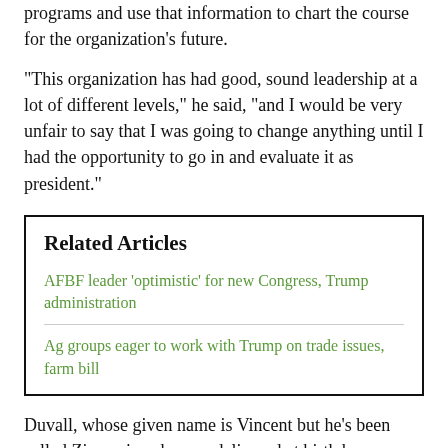programs and use that information to chart the course for the organization's future.
“This organization has had good, sound leadership at a lot of different levels,” he said, “and I would be very unfair to say that I was going to change anything until I had the opportunity to go in and evaluate it as president.”
Related Articles
AFBF leader ‘optimistic’ for new Congress, Trump administration
Ag groups eager to work with Trump on trade issues, farm bill
Duvall, whose given name is Vincent but he’s been called Zippy since he was delivered at birth by cesarean section, campaigned with the pledge of building relationships with